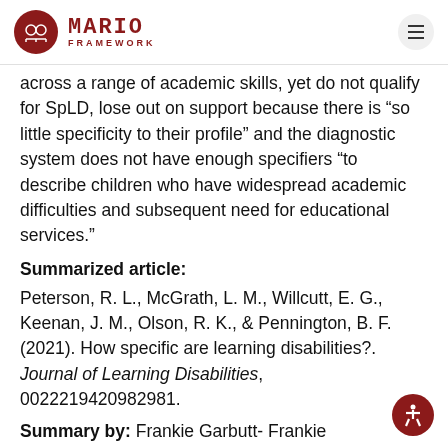MARIO FRAMEWORK
across a range of academic skills, yet do not qualify for SpLD, lose out on support because there is “so little specificity to their profile” and the diagnostic system does not have enough specifiers “to describe children who have widespread academic difficulties and subsequent need for educational services.”
Summarized article:
Peterson, R. L., McGrath, L. M., Willcutt, E. G., Keenan, J. M., Olson, R. K., & Pennington, B. F. (2021). How specific are learning disabilities?. Journal of Learning Disabilities, 0022219420982981.
Summary by: Frankie Garbutt- Frankie